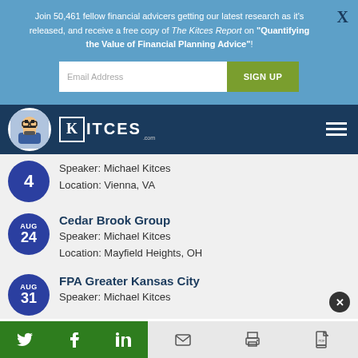Join 50,461 fellow financial advicers getting our latest research as it's released, and receive a free copy of The Kitces Report on "Quantifying the Value of Financial Planning Advice"!
[Figure (screenshot): Email address input box with SIGN UP button on blue background]
[Figure (logo): Kitces.com logo with pixel avatar on dark blue navigation bar]
4 | Speaker: Michael Kitces | Location: Vienna, VA
AUG 24 | Cedar Brook Group | Speaker: Michael Kitces | Location: Mayfield Heights, OH
AUG 31 | FPA Greater Kansas City | Speaker: Michael Kitces
[Figure (infographic): Social sharing bar with Twitter, Facebook, LinkedIn, email, print, and PDF icons]